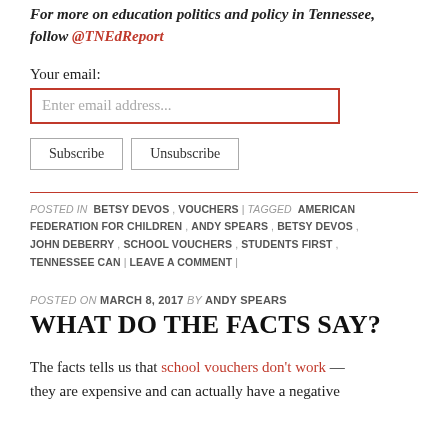For more on education politics and policy in Tennessee, follow @TNEdReport
Your email:
Enter email address...
Subscribe | Unsubscribe
POSTED IN BETSY DEVOS , VOUCHERS | TAGGED AMERICAN FEDERATION FOR CHILDREN , ANDY SPEARS , BETSY DEVOS , JOHN DEBERRY , SCHOOL VOUCHERS , STUDENTS FIRST , TENNESSEE CAN | LEAVE A COMMENT |
POSTED ON MARCH 8, 2017 BY ANDY SPEARS
WHAT DO THE FACTS SAY?
The facts tells us that school vouchers don't work — they are expensive and can actually have a negative